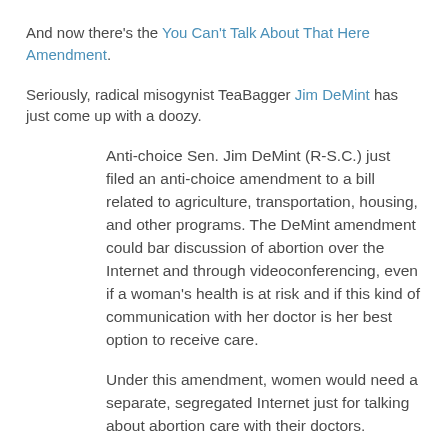And now there's the You Can't Talk About That Here Amendment.
Seriously, radical misogynist TeaBagger Jim DeMint has just come up with a doozy.
Anti-choice Sen. Jim DeMint (R-S.C.) just filed an anti-choice amendment to a bill related to agriculture, transportation, housing, and other programs. The DeMint amendment could bar discussion of abortion over the Internet and through videoconferencing, even if a woman's health is at risk and if this kind of communication with her doctor is her best option to receive care.
Under this amendment, women would need a separate, segregated Internet just for talking about abortion care with their doctors.
Spiteful, misogynist, hoop-hopping and, for extra bonus points, sneaky.